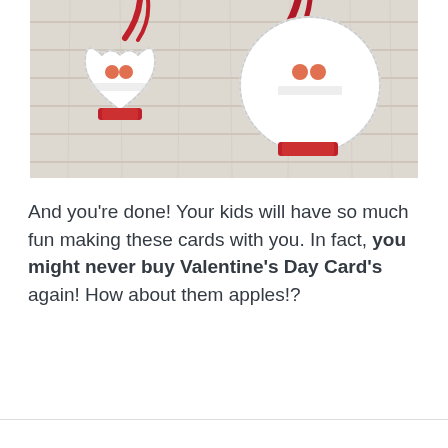[Figure (photo): Two heart-shaped Valentine's Day cards with red ribbons and small circular candy decorations, laid on a white wooden surface.]
And you're done! Your kids will have so much fun making these cards with you. In fact, you might never buy Valentine's Day Card's again! How about them apples!?